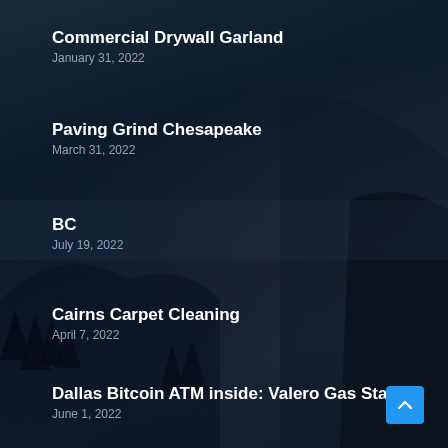Commercial Drywall Garland
January 31, 2022
Paving Grind Chesapeake
March 31, 2022
BC
July 19, 2022
Cairns Carpet Cleaning
April 7, 2022
Dallas Bitcoin ATM inside: Valero Gas Station
June 1, 2022